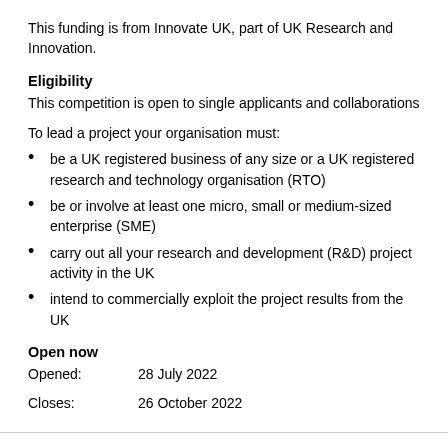This funding is from Innovate UK, part of UK Research and Innovation.
Eligibility
This competition is open to single applicants and collaborations
To lead a project your organisation must:
be a UK registered business of any size or a UK registered research and technology organisation (RTO)
be or involve at least one micro, small or medium-sized enterprise (SME)
carry out all your research and development (R&D) project activity in the UK
intend to commercially exploit the project results from the UK
Open now
Opened:        28 July 2022
Closes:        26 October 2022